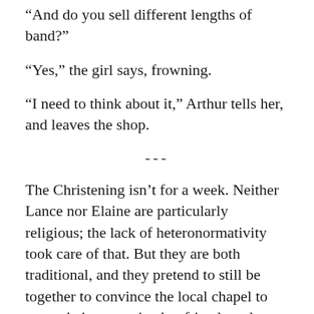“And do you sell different lengths of band?”
“Yes,” the girl says, frowning.
“I need to think about it,” Arthur tells her, and leaves the shop.
---
The Christening isn’t for a week. Neither Lance nor Elaine are particularly religious; the lack of heteronormativity took care of that. But they are both traditional, and they pretend to still be together to convince the local chapel to name their respective boyfriends and girlfriend as godparents of baby Galahad.
They troop into the chapel, Elaine rocks Galahad to keep him quiet through the…